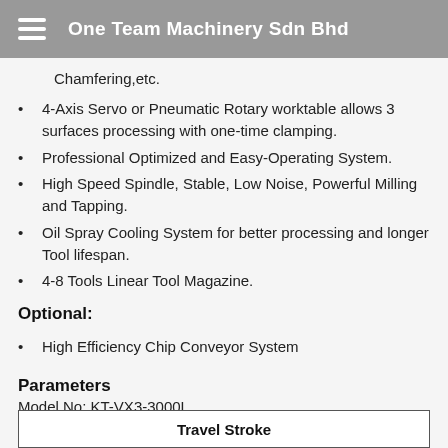One Team Machinery Sdn Bhd
Chamfering,etc.
4-Axis Servo or Pneumatic Rotary worktable allows 3 surfaces processing with one-time clamping.
Professional Optimized and Easy-Operating System.
High Speed Spindle, Stable, Low Noise, Powerful Milling and Tapping.
Oil Spray Cooling System for better processing and longer Tool lifespan.
4-8 Tools Linear Tool Magazine.
Optional:
High Efficiency Chip Conveyor System
Parameters
Model No: KT-VX3-3000L
| Travel Stroke |
| --- |